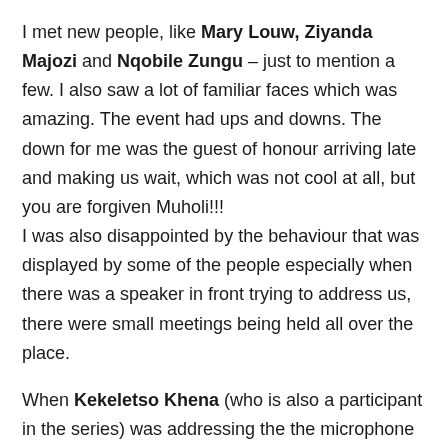I met new people, like Mary Louw, Ziyanda Majozi and Nqobile Zungu – just to mention a few. I also saw a lot of familiar faces which was amazing. The event had ups and downs. The down for me was the guest of honour arriving late and making us wait, which was not cool at all, but you are forgiven Muholi!!!
I was also disappointed by the behaviour that was displayed by some of the people especially when there was a speaker in front trying to address us, there were small meetings being held all over the place.
When Kekeletso Khena (who is also a participant in the series) was addressing the the microphone volume was low at first but was raised and people kept on talking willy nilly!.
I wish that next time our attitude changes and we in turn